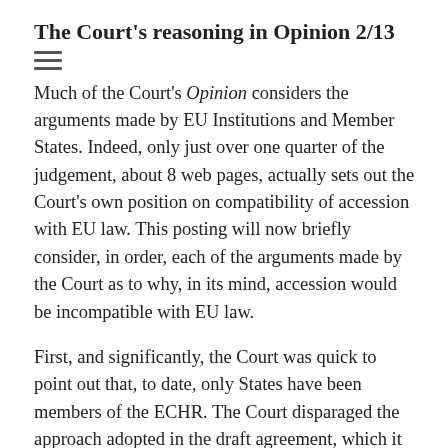The Court's reasoning in Opinion 2/13
Much of the Court's Opinion considers the arguments made by EU Institutions and Member States. Indeed, only just over one quarter of the judgement, about 8 web pages, actually sets out the Court's own position on compatibility of accession with EU law. This posting will now briefly consider, in order, each of the arguments made by the Court as to why, in its mind, accession would be incompatible with EU law.
First, and significantly, the Court was quick to point out that, to date, only States have been members of the ECHR. The Court disparaged the approach adopted in the draft agreement, which it believed treats the EU as a State, and thus ignored the intrinsic nature of the EU. In contrast, the ECJ has characterized the EU as